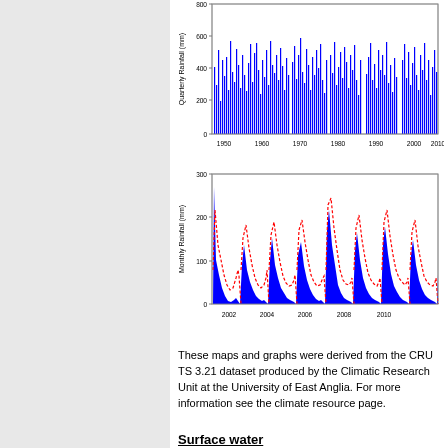[Figure (bar-chart): Bar chart showing quarterly rainfall in mm from approximately 1950 to 2010, with bars ranging from near 0 to about 800mm]
[Figure (area-chart): Area chart showing monthly rainfall in mm from 2002 to 2011 with blue fill and red dashed overlay line]
These maps and graphs were derived from the CRU TS 3.21 dataset produced by the Climatic Research Unit at the University of East Anglia. For more information see the climate resource page.
Surface water